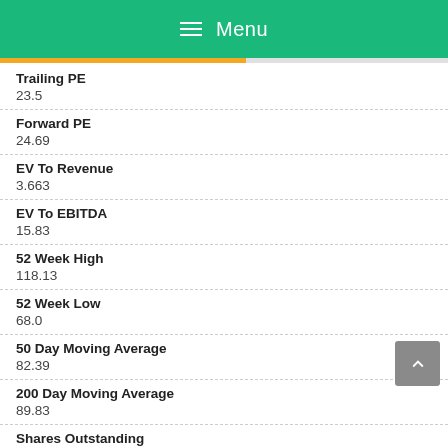Menu
Trailing PE
23.5
Forward PE
24.69
EV To Revenue
3.663
EV To EBITDA
15.83
52 Week High
118.13
52 Week Low
68.0
50 Day Moving Average
82.39
200 Day Moving Average
89.83
Shares Outstanding